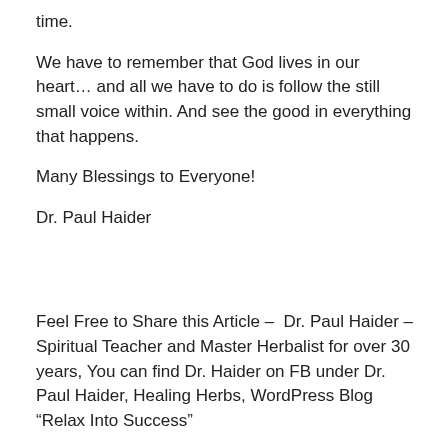time.
We have to remember that God lives in our heart… and all we have to do is follow the still small voice within. And see the good in everything that happens.
Many Blessings to Everyone!
Dr. Paul Haider
Feel Free to Share this Article –  Dr. Paul Haider – Spiritual Teacher and Master Herbalist for over 30 years, You can find Dr. Haider on FB under Dr. Paul Haider, Healing Herbs, WordPress Blog “Relax Into Success”